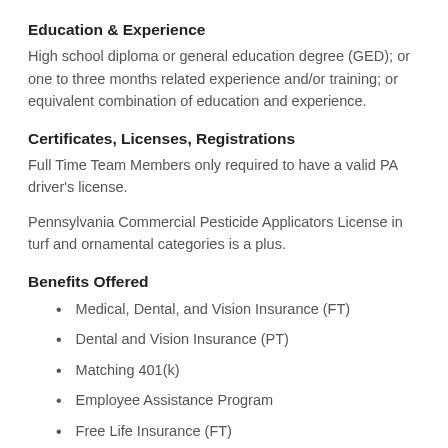Education & Experience
High school diploma or general education degree (GED); or one to three months related experience and/or training; or equivalent combination of education and experience.
Certificates, Licenses, Registrations
Full Time Team Members only required to have a valid PA driver's license.
Pennsylvania Commercial Pesticide Applicators License in turf and ornamental categories is a plus.
Benefits Offered
Medical, Dental, and Vision Insurance (FT)
Dental and Vision Insurance (PT)
Matching 401(k)
Employee Assistance Program
Free Life Insurance (FT)